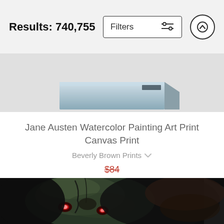Results: 740,755
Jane Austen Watercolor Painting Art Print Canvas Print
Beverly Brown Prints
$84 $67
[Figure (photo): Canvas print shown at angle from top, dark background with colorful image]
[Figure (photo): Dark horror art canvas print showing zombie-like creature with glowing red eyes on black background, shown at a perspective angle]